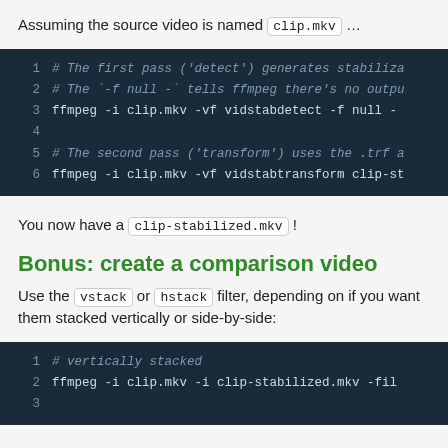Assuming the source video is named clip.mkv …
[Figure (screenshot): Code block showing two ffmpeg commands: first pass (detect) and second pass (transform) for video stabilization]
You now have a clip-stabilized.mkv !
Bonus: create a comparison video
Use the vstack or hstack filter, depending on if you want them stacked vertically or side-by-side:
[Figure (screenshot): Code block showing ffmpeg command for vertically stacked video comparison using clip.mkv and clip-stabilized.mkv]